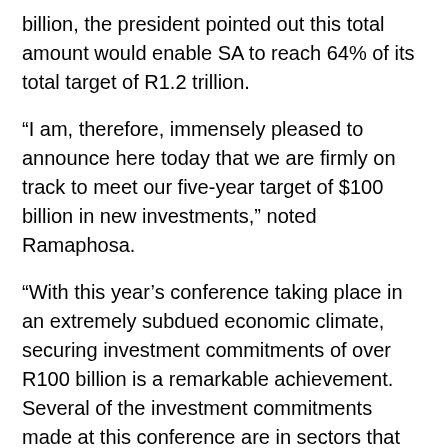billion, the president pointed out this total amount would enable SA to reach 64% of its total target of R1.2 trillion.
“I am, therefore, immensely pleased to announce here today that we are firmly on track to meet our five-year target of $100 billion in new investments,” noted Ramaphosa.
“With this year’s conference taking place in an extremely subdued economic climate, securing investment commitments of over R100 billion is a remarkable achievement. Several of the investment commitments made at this conference are in sectors that have been hard-hit by COVID-19, especially the tourism and hospitality industries. These investments will go a long way towards their recovery.”